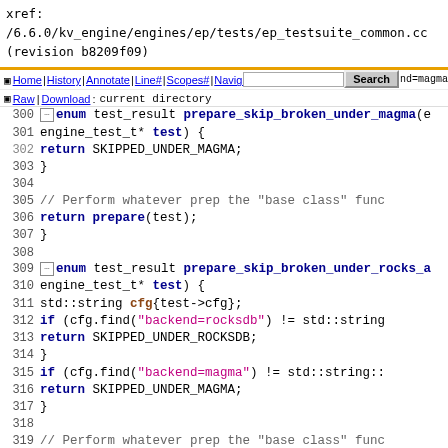xref:
/6.6.0/kv_engine/engines/ep/tests/ep_testsuite_common.cc
(revision b8209f09)
Home | History | Annotate | Line# | Scopes# | Navigate# ... Raw | Download ... Search ... current directory
[Figure (screenshot): Source code viewer showing C++ code lines 300-324 of ep_testsuite_common.cc with syntax highlighting. Functions prepare_skip_broken_under_magma and prepare_skip_broken_under_rocks_a and prepare_skip_broken_under_ephemer are shown, with enum keywords, return statements, if conditions checking cfg.find for backend=rocksdb and backend=magma strings.]